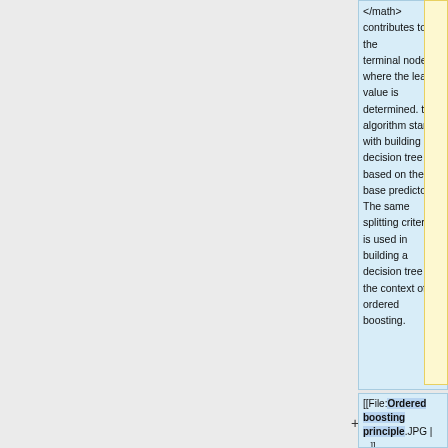</math> contributes to the terminal nodes where the leaf value is determined. the algorithm starts with building a decision tree based on the base predictors. The same splitting criterion is used in building a decision tree in the context of ordered boosting.
[[File:Ordered boosting principle.JPG |